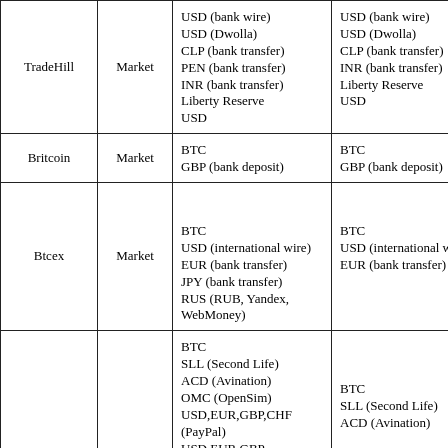| TradeHill | Market | USD (bank wire)
USD (Dwolla)
CLP (bank transfer)
PEN (bank transfer)
INR (bank transfer)
Liberty Reserve
USD | USD (bank wire)
USD (Dwolla)
CLP (bank transfer)
INR (bank transfer)
Liberty Reserve
USD | Yes |
| Britcoin | Market | BTC
GBP (bank deposit) | BTC
GBP (bank deposit) | Yes |
| Btcex | Market | BTC
USD (international wire)
EUR (bank transfer)
JPY (bank transfer)
RUS (RUB, Yandex, WebMoney) | BTC
USD (international wire)
EUR (bank transfer) | Yes |
|  |  | BTC
SLL (Second Life)
ACD (Avination)
OMC (OpenSim)
USD,EUR,GBP,CHF (PayPal)
USD,EUR,GBP ... | BTC
SLL (Second Life)
ACD (Avination) |  |